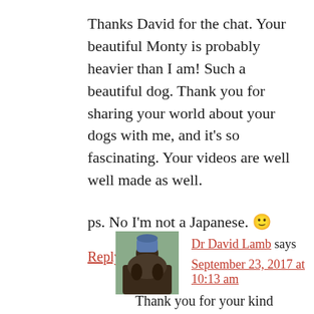Thanks David for the chat. Your beautiful Monty is probably heavier than I am! Such a beautiful dog. Thank you for sharing your world about your dogs with me, and it's so fascinating. Your videos are well well made as well.
ps. No I'm not a Japanese. 🙂
Reply
[Figure (photo): Avatar photo of Dr David Lamb showing a person with a dark dog outdoors]
Dr David Lamb says
September 23, 2017 at 10:13 am
Thank you for your kind reply. Sincere